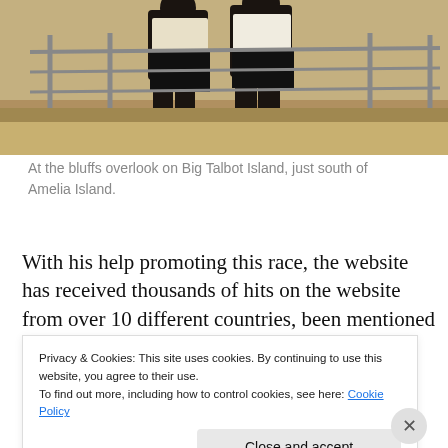[Figure (photo): Two people standing at the bluffs overlook on Big Talbot Island, just south of Amelia Island. They are wearing athletic shorts and a metal railing fence is visible behind them with sandy terrain.]
At the bluffs overlook on Big Talbot Island, just south of Amelia Island.
With his help promoting this race, the website has received thousands of hits on the website from over 10 different countries, been mentioned on the international
Privacy & Cookies: This site uses cookies. By continuing to use this website, you agree to their use.
To find out more, including how to control cookies, see here: Cookie Policy